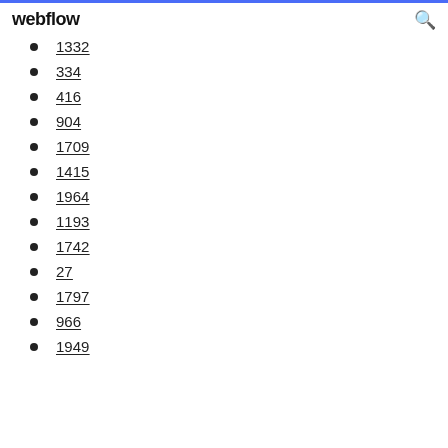webflow
1332
334
416
904
1709
1415
1964
1193
1742
27
1797
966
1949